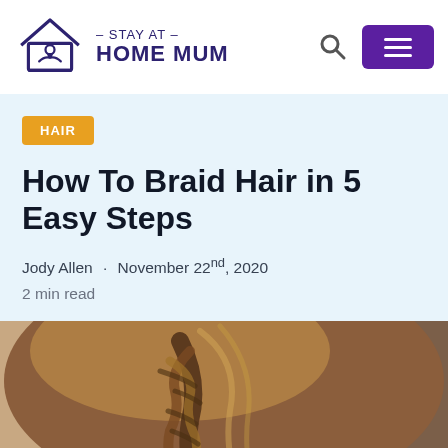Stay At Home Mum
HAIR
How To Braid Hair in 5 Easy Steps
Jody Allen · November 22nd, 2020
2 min read
[Figure (photo): Close-up photograph of a woman's braided hair (French braid), viewed from behind, with warm brown hair tones and a blurred background showing a dark object.]